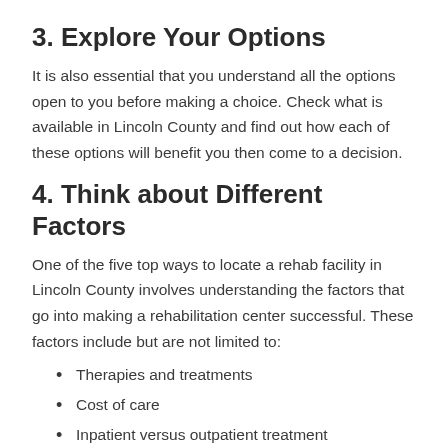3. Explore Your Options
It is also essential that you understand all the options open to you before making a choice. Check what is available in Lincoln County and find out how each of these options will benefit you then come to a decision.
4. Think about Different Factors
One of the five top ways to locate a rehab facility in Lincoln County involves understanding the factors that go into making a rehabilitation center successful. These factors include but are not limited to:
Therapies and treatments
Cost of care
Inpatient versus outpatient treatment
Duration of program